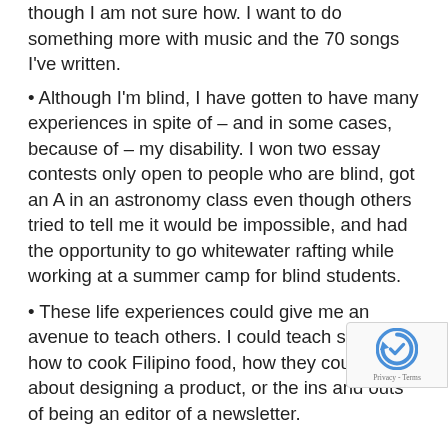though I am not sure how. I want to do something more with music and the 70 songs I've written.
• Although I'm blind, I have gotten to have many experiences in spite of – and in some cases, because of – my disability. I won two essay contests only open to people who are blind, got an A in an astronomy class even though others tried to tell me it would be impossible, and had the opportunity to go whitewater rafting while working at a summer camp for blind students.
• These life experiences could give me an avenue to teach others. I could teach someone how to cook Filipino food, how they could go about designing a product, or the ins and outs of being an editor of a newsletter.
I encourage you to think about your life and make a list of all you have accomplished. Writing it all down might help you realize you have achieved more than you thought...